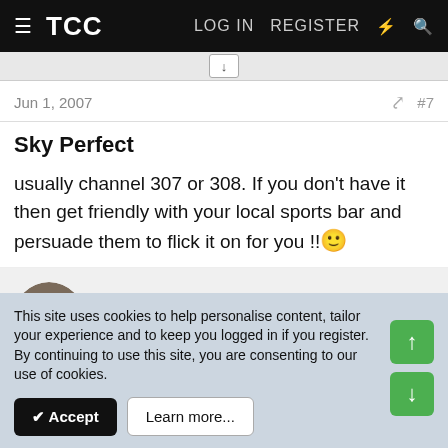TCC — LOG IN  REGISTER
Jun 1, 2007  #7
Sky Perfect
usually channel 307 or 308. If you don't have it then get friendly with your local sports bar and persuade them to flick it on for you !! 🙂
Edogawakikkoman
Maximum Pace
This site uses cookies to help personalise content, tailor your experience and to keep you logged in if you register.
By continuing to use this site, you are consenting to our use of cookies.